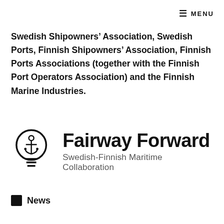≡ MENU
Swedish Shipowners' Association, Swedish Ports, Finnish Shipowners' Association, Finnish Ports Associations (together with the Finnish Port Operators Association) and the Finnish Marine Industries.
[Figure (logo): Fairway Forward logo: lightbulb with an anchor icon, text 'Fairway Forward' and subtitle 'Swedish-Finnish Maritime Collaboration']
News